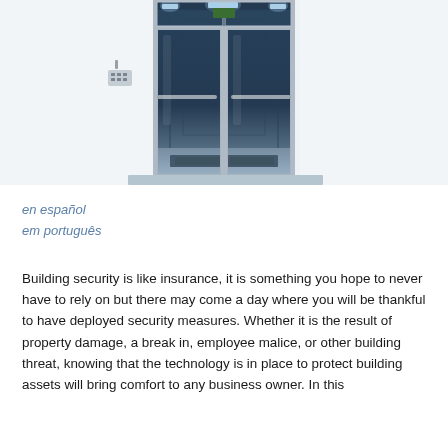[Figure (photo): Photograph of a modern commercial building entrance with glass double doors, silver/chrome frames, interior hallway visible through the glass, white walls, entry mat on the floor, and a keypad/intercom on the left wall.]
en español
em português
Building security is like insurance, it is something you hope to never have to rely on but there may come a day where you will be thankful to have deployed security measures. Whether it is the result of property damage, a break in, employee malice, or other building threat, knowing that the technology is in place to protect building assets will bring comfort to any business owner. In this